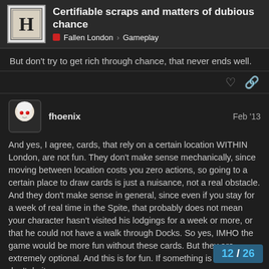Certifiable scraps and matters of dubious chance | Fallen London > Gameplay
But don't try to get rich through chance, that never ends well.
fhoenix  Feb '13
And yes, I agree, cards, that rely on a certain location WITHIN London, are not fun. They don't make sense mechanically, since moving between location costs you zero actions, so going to a certain place to draw cards is just a nuisance, not a real obstacle. And they don't make sense in general, since even if you stay for a week of real time in the Spite, that probably does not mean your character hasn't visited his lodgings for a week or more, or that he could not have a walk through Docks. So yes, IMHO the game would be more fun without these cards. But they are extremely optional. And this is for fun. If something is not fun, don't do it,
12 / 26